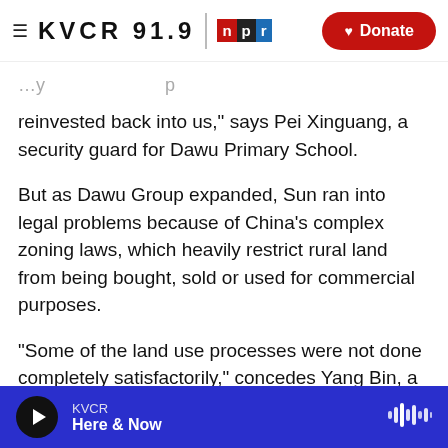KVCR 91.9 NPR | Donate
reinvested back into us," says Pei Xinguang, a security guard for Dawu Primary School.
But as Dawu Group expanded, Sun ran into legal problems because of China's complex zoning laws, which heavily restrict rural land from being bought, sold or used for commercial purposes.
"Some of the land use processes were not done completely satisfactorily," concedes Yang Bin, a defense lawyer retained by the Sun family. Such land use issues are relatively common paperwork issues in China, usually resolved through
KVCR — Here & Now